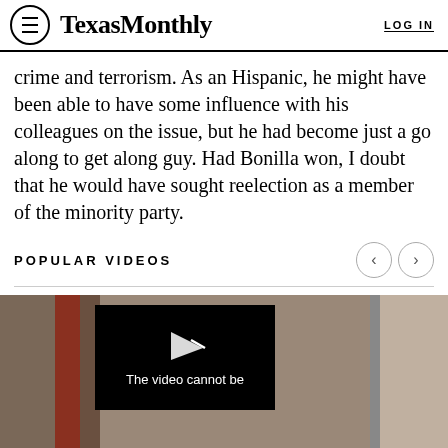Texas Monthly  LOG IN
crime and terrorism. As an Hispanic, he might have been able to have some influence with his colleagues on the issue, but he had become just a go along to get along guy. Had Bonilla won, I doubt that he would have sought reelection as a member of the minority party.
POPULAR VIDEOS
[Figure (screenshot): Video player showing a partially visible video with a black overlay centered on screen displaying a play button arrow icon and the text 'The video cannot be'. To the right is a partially visible second video thumbnail.]
[Figure (screenshot): Bottom thumbnail strip area with gray/white dotted pattern placeholders for video thumbnails.]